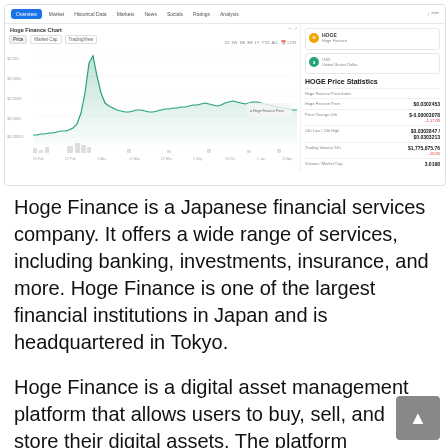[Figure (screenshot): Screenshot of a cryptocurrency price chart for Hoge Finance (HOGE) showing a line chart with a sharp peak followed by decline, alongside HOGE Price Statistics table showing price, change, 24h low/high, trading volume, and volume/market cap metrics.]
Hoge Finance is a Japanese financial services company. It offers a wide range of services, including banking, investments, insurance, and more. Hoge Finance is one of the largest financial institutions in Japan and is headquartered in Tokyo.
Hoge Finance is a digital asset management platform that allows users to buy, sell, and store their digital assets. The platform